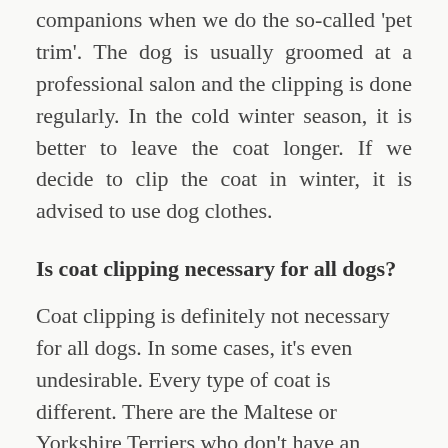companions when we do the so-called 'pet trim'. The dog is usually groomed at a professional salon and the clipping is done regularly. In the cold winter season, it is better to leave the coat longer. If we decide to clip the coat in winter, it is advised to use dog clothes.
Is coat clipping necessary for all dogs?
Coat clipping is definitely not necessary for all dogs. In some cases, it's even undesirable. Every type of coat is different. There are the Maltese or Yorkshire Terriers who don't have an undercoat and whose coat can be compared to human hair. The regular daily coat care can be very demanding due to the